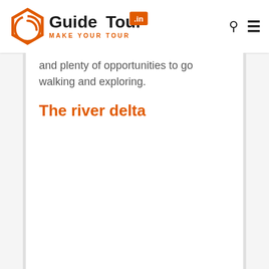GuideTour.in - Make Your Tour
and plenty of opportunities to go walking and exploring.
The river delta